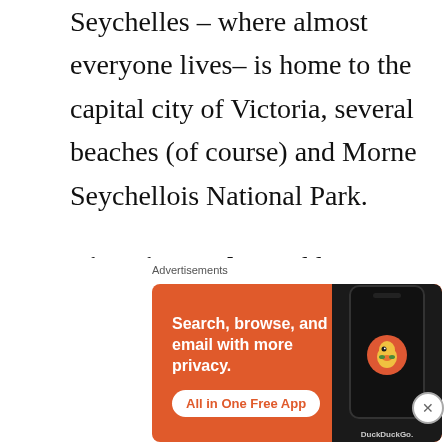Seychelles – where almost everyone lives– is home to the capital city of Victoria, several beaches (of course) and Morne Seychellois National Park.

Victoria Market: I'd love to stroll through this island's market filling a little straw bag with fresh fruits to eat on the beach later. This one reminds me of markets back home where fruits and veggies are fresh and
[Figure (other): DuckDuckGo advertisement banner with orange background showing a smartphone. Text reads: 'Search, browse, and email with more privacy. All in One Free App' with DuckDuckGo branding and logo.]